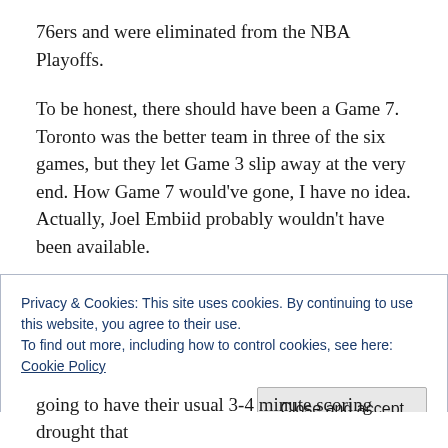76ers and were eliminated from the NBA Playoffs.
To be honest, there should have been a Game 7. Toronto was the better team in three of the six games, but they let Game 3 slip away at the very end. How Game 7 would've gone, I have no idea. Actually, Joel Embiid probably wouldn't have been available.
Oh well, I'm not going down that rabbit hole.
Game 6 started with scoring sprees from both teams. It felt like no one could miss a shot. It was fun, it was exciting,
Privacy & Cookies: This site uses cookies. By continuing to use this website, you agree to their use.
To find out more, including how to control cookies, see here: Cookie Policy
going to have their usual 3-4 minute scoring drought that